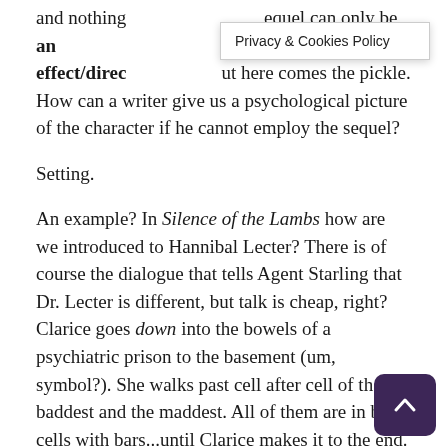and nothing …equel can only be an effect/direct…ut here comes the pickle. How can a writer give us a psychological picture of the character if he cannot employ the sequel?
Setting.
An example? In Silence of the Lambs how are we introduced to Hannibal Lecter? There is of course the dialogue that tells Agent Starling that Dr. Lecter is different, but talk is cheap, right? Clarice goes down into the bowels of a psychiatric prison to the basement (um, symbol?). She walks past cell after cell of the baddest and the maddest. All of them are in brick cells with bars...until Clarice makes it to the end.
Hannibal's cell is not like the others. He is behind Plexi-Glass with airholes. This glass cage evokes a primal fear. Han…affects us less like a prisoner and more like a venomou… spider. Setting has shown us that Hannibal the Cannibal is a